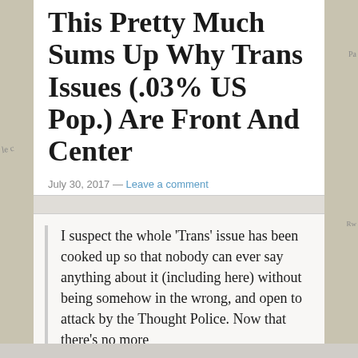This Pretty Much Sums Up Why Trans Issues (.03% US Pop.) Are Front And Center
July 30, 2017 — Leave a comment
I suspect the whole 'Trans' issue has been cooked up so that nobody can ever say anything about it (including here) without being somehow in the wrong, and open to attack by the Thought Police. Now that there's no more
Advertisements
[Figure (other): DuckDuckGo advertisement banner on orange/red background showing 'Search, browse, and email with more privacy. All in One Free App' with a phone graphic and DuckDuckGo logo]